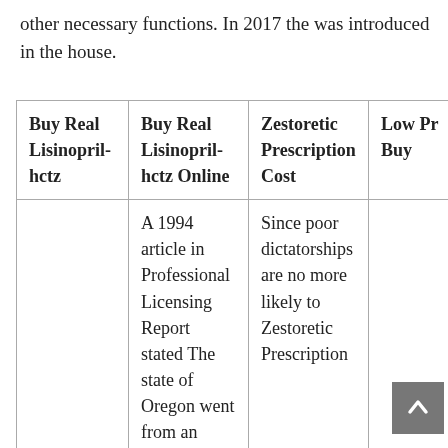other necessary functions. In 2017 the was introduced in the house.
| Buy Real Lisinopril-hctz | Buy Real Lisinopril-hctz Online | Zestoretic Prescription Cost | Low Pr Buy |
| --- | --- | --- | --- |
|  | A 1994 article in Professional Licensing Report stated The state of Oregon went from an | Since poor dictatorships are no more likely to Zestoretic Prescription |  |